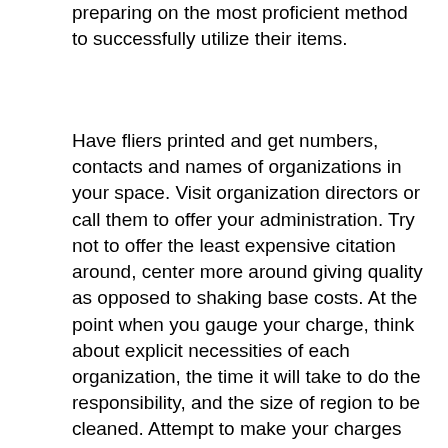preparing on the most proficient method to successfully utilize their items.
Have fliers printed and get numbers, contacts and names of organizations in your space. Visit organization directors or call them to offer your administration. Try not to offer the least expensive citation around, center more around giving quality as opposed to shaking base costs. At the point when you gauge your charge, think about explicit necessities of each organization, the time it will take to do the responsibility, and the size of region to be cleaned. Attempt to make your charges serious with others in your industry yet don't mean to be the least expensive.